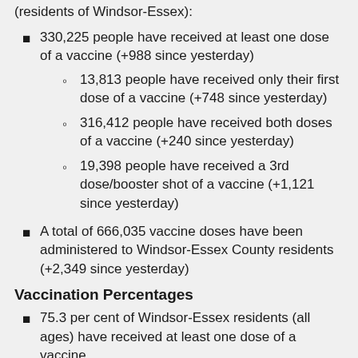(residents of Windsor-Essex):
330,225 people have received at least one dose of a vaccine (+988 since yesterday)
13,813 people have received only their first dose of a vaccine (+748 since yesterday)
316,412 people have received both doses of a vaccine (+240 since yesterday)
19,398 people have received a 3rd dose/booster shot of a vaccine (+1,121 since yesterday)
A total of 666,035 vaccine doses have been administered to Windsor-Essex County residents (+2,349 since yesterday)
Vaccination Percentages
75.3 per cent of Windsor-Essex residents (all ages) have received at least one dose of a vaccine